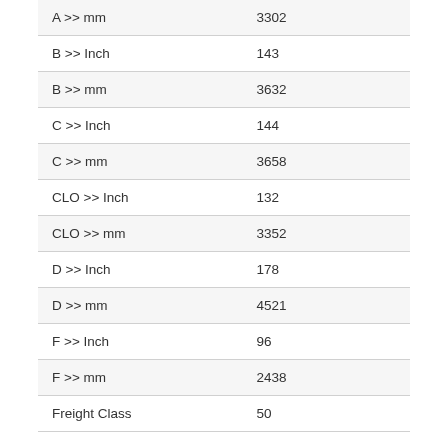| A >> mm | 3302 |
| B >> Inch | 143 |
| B >> mm | 3632 |
| C >> Inch | 144 |
| C >> mm | 3658 |
| CLO >> Inch | 132 |
| CLO >> mm | 3352 |
| D >> Inch | 178 |
| D >> mm | 4521 |
| F >> Inch | 96 |
| F >> mm | 2438 |
| Freight Class | 50 |